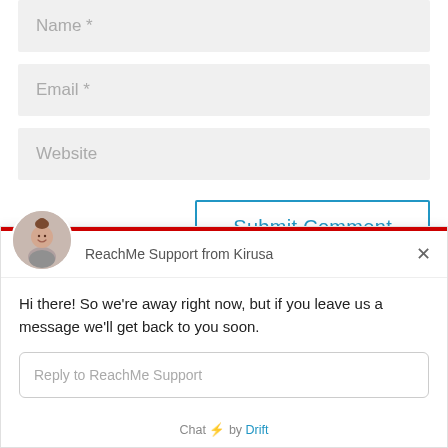[Figure (screenshot): Form input field with placeholder text 'Name *' on gray background]
[Figure (screenshot): Form input field with placeholder text 'Email *' on gray background]
[Figure (screenshot): Form input field with placeholder text 'Website' on gray background]
[Figure (screenshot): Submit Comment button with blue border and blue text]
[Figure (screenshot): Drift ReachMe Support chat widget showing avatar, header 'ReachMe Support from Kirusa', message 'Hi there! So we're away right now, but if you leave us a message we'll get back to you soon.', reply input, and 'Chat by Drift' footer]